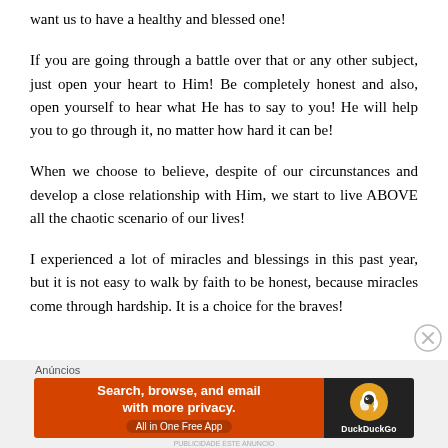want us to have a healthy and blessed one!
If you are going through a battle over that or any other subject, just open your heart to Him! Be completely honest and also, open yourself to hear what He has to say to you! He will help you to go through it, no matter how hard it can be!
When we choose to believe, despite of our circunstances and develop a close relationship with Him, we start to live ABOVE all the chaotic scenario of our lives!
I experienced a lot of miracles and blessings in this past year, but it is not easy to walk by faith to be honest, because miracles come through hardship. It is a choice for the braves!
[Figure (screenshot): DuckDuckGo advertisement banner: orange section with text 'Search, browse, and email with more privacy. All in One Free App' and dark section with DuckDuckGo logo. Labeled 'Anúncios' above.]